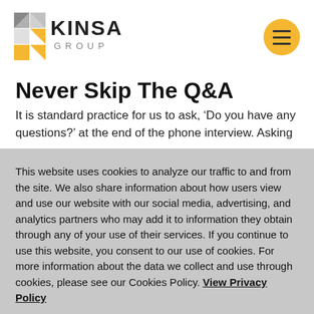[Figure (logo): Kinsa Group logo with geometric triangles/squares in gray and yellow, followed by 'KINSA GROUP' text]
Never Skip The Q&A
It is standard practice for us to ask, ‘Do you have any questions?’ at the end of the phone interview. Asking
This website uses cookies to analyze our traffic to and from the site. We also share information about how users view and use our website with our social media, advertising, and analytics partners who may add it to information they obtain through any of your use of their services. If you continue to use this website, you consent to our use of cookies. For more information about the data we collect and use through cookies, please see our Cookies Policy. View Privacy Policy
COOKIE SETTINGS   ACCEPT ALL   Cookies Policy